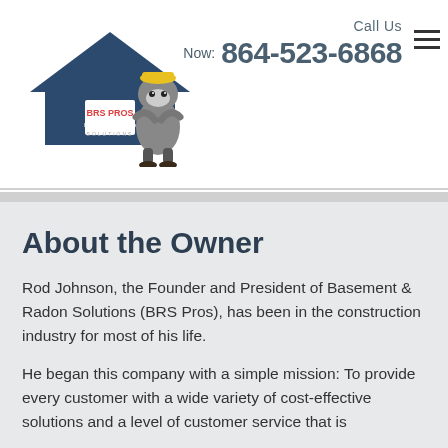BRS PROS Basement & Radon Solutions — Call Us Now: 864-523-6868
About the Owner
Rod Johnson, the Founder and President of Basement & Radon Solutions (BRS Pros), has been in the construction industry for most of his life.
He began this company with a simple mission: To provide every customer with a wide variety of cost-effective solutions and a level of customer service that is